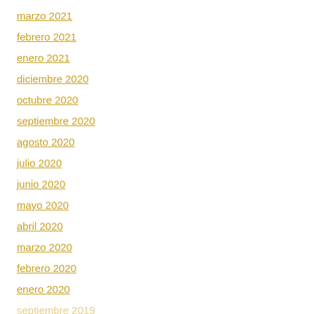marzo 2021
febrero 2021
enero 2021
diciembre 2020
octubre 2020
septiembre 2020
agosto 2020
julio 2020
junio 2020
mayo 2020
abril 2020
marzo 2020
febrero 2020
enero 2020
septiembre 2019